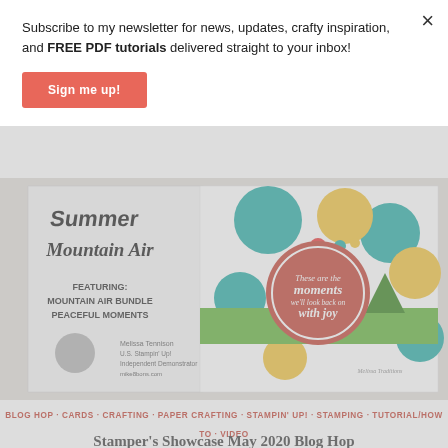Subscribe to my newsletter for news, updates, crafty inspiration, and FREE PDF tutorials delivered straight to your inbox!
Sign me up!
[Figure (photo): Stamping card image featuring Mountain Air Bundle and Peaceful Moments stamp set, with colorful circles and tree silhouette design. Melissa Tennison U.S. Stampin' Up! Independent Demonstrator.]
BLOG HOP · CARDS · CRAFTING · PAPER CRAFTING · STAMPIN' UP! · STAMPING · TUTORIAL/HOW TO · VIDEO
Stamper's Showcase May 2020 Blog Hop